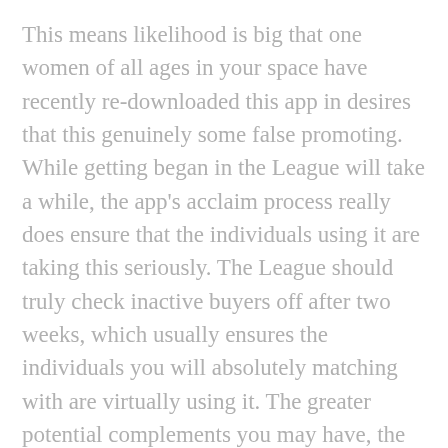This means likelihood is big that one women of all ages in your space have recently re-downloaded this app in desires that this genuinely some false promoting. While getting began in the League will take a while, the app's acclaim process really does ensure that the individuals using it are taking this seriously. The League should truly check inactive buyers off after two weeks, which usually ensures the individuals you will absolutely matching with are virtually using it. The greater potential complements you may have, the greater probably really that you will find the right woman for you personally, right? According to John Anderson, romance skilled for Beyond Age groups, this mind-set can actually end up backfiring when you are out there for something extra serious. If you're on the lookout for